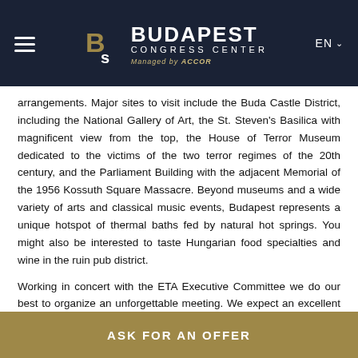Budapest Congress Center — Managed by ACCOR
arrangements. Major sites to visit include the Buda Castle District, including the National Gallery of Art, the St. Steven's Basilica with magnificent view from the top, the House of Terror Museum dedicated to the victims of the two terror regimes of the 20th century, and the Parliament Building with the adjacent Memorial of the 1956 Kossuth Square Massacre. Beyond museums and a wide variety of arts and classical music events, Budapest represents a unique hotspot of thermal baths fed by natural hot springs. You might also be interested to taste Hungarian food specialties and wine in the ruin pub district.
Working in concert with the ETA Executive Committee we do our best to organize an unforgettable meeting. We expect an excellent scientific program; your recent research needs to be brought to and presented in Budapest.
ASK FOR AN OFFER